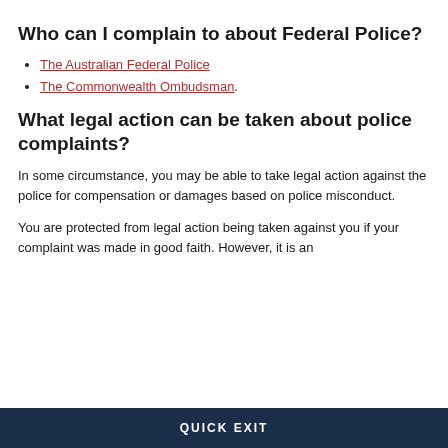Who can I complain to about Federal Police?
The Australian Federal Police
The Commonwealth Ombudsman.
What legal action can be taken about police complaints?
In some circumstance, you may be able to take legal action against the police for compensation or damages based on police misconduct.
You are protected from legal action being taken against you if your complaint was made in good faith. However, it is an
QUICK EXIT